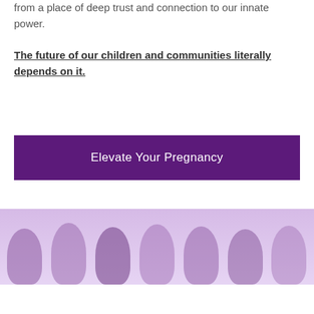from a place of deep trust and connection to our innate power.
The future of our children and communities literally depends on it.
Elevate Your Pregnancy
[Figure (photo): Group photo of several pregnant women and a person sitting together in a room with purple/lavender color overlay]